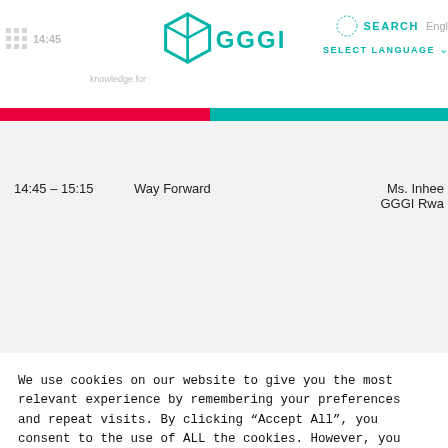[Figure (logo): GGGI logo with teal cube icon and teal text 'GGGI']
SEARCH  SELECT LANGUAGE
| Time | Topic | Speaker |
| --- | --- | --- |
| 14:45 – 15:15 | Way Forward | Ms. Inhee...
GGGI Rwa... |
We use cookies on our website to give you the most relevant experience by remembering your preferences and repeat visits. By clicking “Accept All”, you consent to the use of ALL the cookies. However, you may visit "Cookie Settings" to provide a controlled consent.
Cookie Settings
Accept All
Reject All